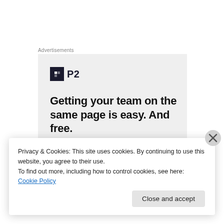Advertisements
[Figure (illustration): P2 advertisement banner with logo, headline 'Getting your team on the same page is easy. And free.' and circular avatar photos at the bottom]
Privacy & Cookies: This site uses cookies. By continuing to use this website, you agree to their use.
To find out more, including how to control cookies, see here: Cookie Policy
Close and accept